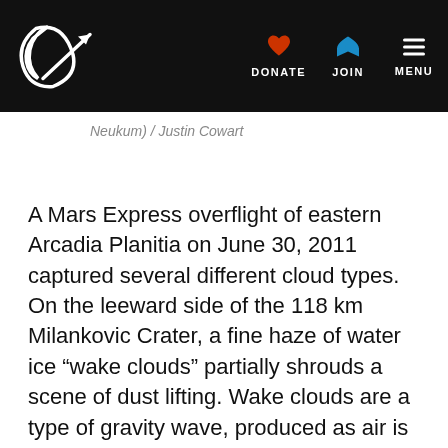DONATE JOIN MENU
Neukum) / Justin Cowart
A Mars Express overflight of eastern Arcadia Planitia on June 30, 2011 captured several different cloud types. On the leeward side of the 118 km Milankovic Crater, a fine haze of water ice “wake clouds” partially shrouds a scene of dust lifting. Wake clouds are a type of gravity wave, produced as air is forced upwards by a high-standing topographic feature like a crater rim. In the wake of the crater, the airflow several times in a